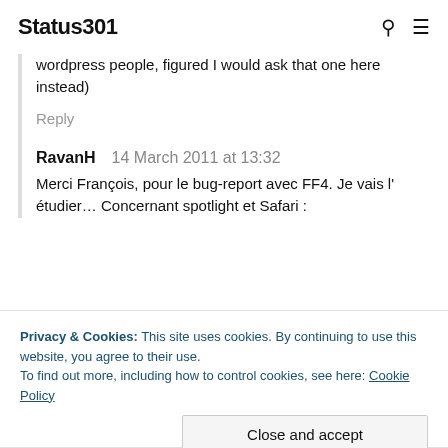Status301
wordpress people, figured I would ask that one here instead)
Reply
RavanH   14 March 2011 at 13:32
Merci François, pour le bug-report avec FF4. Je vais l' étudier… Concernant spotlight et Safari :
Privacy & Cookies: This site uses cookies. By continuing to use this website, you agree to their use.
To find out more, including how to control cookies, see here: Cookie Policy
Close and accept
Hi Ravan,